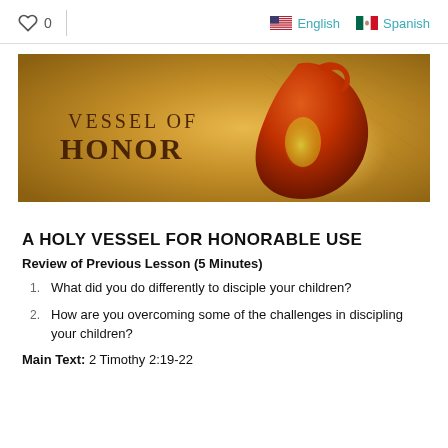♡ 0   English   Spanish
[Figure (illustration): Banner image with an oil lamp/jug on a golden textured background with text reading 'Vessel of Honor']
A HOLY VESSEL FOR HONORABLE USE
Review of Previous Lesson (5 Minutes)
What did you do differently to disciple your children?
How are you overcoming some of the challenges in discipling your children?
Main Text: 2 Timothy 2:19-22